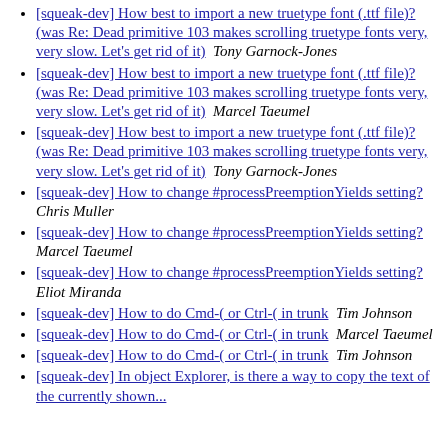[squeak-dev] How best to import a new truetype font (.ttf file)? (was Re: Dead primitive 103 makes scrolling truetype fonts very, very slow. Let's get rid of it)  Tony Garnock-Jones
[squeak-dev] How best to import a new truetype font (.ttf file)? (was Re: Dead primitive 103 makes scrolling truetype fonts very, very slow. Let's get rid of it)  Marcel Taeumel
[squeak-dev] How best to import a new truetype font (.ttf file)? (was Re: Dead primitive 103 makes scrolling truetype fonts very, very slow. Let's get rid of it)  Tony Garnock-Jones
[squeak-dev] How to change #processPreemptionYields setting?  Chris Muller
[squeak-dev] How to change #processPreemptionYields setting?  Marcel Taeumel
[squeak-dev] How to change #processPreemptionYields setting?  Eliot Miranda
[squeak-dev] How to do Cmd-( or Ctrl-( in trunk  Tim Johnson
[squeak-dev] How to do Cmd-( or Ctrl-( in trunk  Marcel Taeumel
[squeak-dev] How to do Cmd-( or Ctrl-( in trunk  Tim Johnson
[squeak-dev] In object Explorer, is there a way to copy the text of the currently shown...